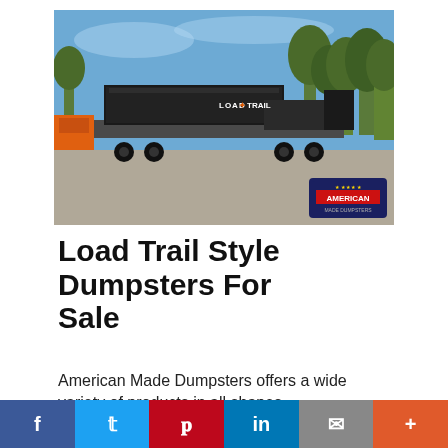[Figure (photo): A black Load Trail style flatbed trailer with a dumpster on it, parked in a lot with trees in the background and blue sky. An 'American Made Dumpsters' logo badge is visible in the lower right corner of the photo.]
Load Trail Style Dumpsters For Sale
American Made Dumpsters offers a wide variety of products in all shapes
f  t  p  in  ✉  +